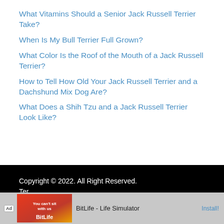What Vitamins Should a Senior Jack Russell Terrier Take?
When Is My Bull Terrier Full Grown?
What Color Is the Roof of the Mouth of a Jack Russell Terrier?
How to Tell How Old Your Jack Russell Terrier and a Dachshund Mix Dog Are?
What Does a Shih Tzu and a Jack Russell Terrier Look Like?
Copyright © 2022. All Right Reserved.
[Figure (other): Ad banner for BitLife - Life Simulator app with Install button]